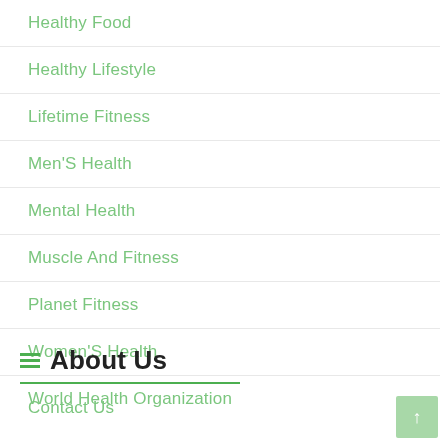Healthy Food
Healthy Lifestyle
Lifetime Fitness
Men'S Health
Mental Health
Muscle And Fitness
Planet Fitness
Women'S Health
World Health Organization
About Us
Contact Us